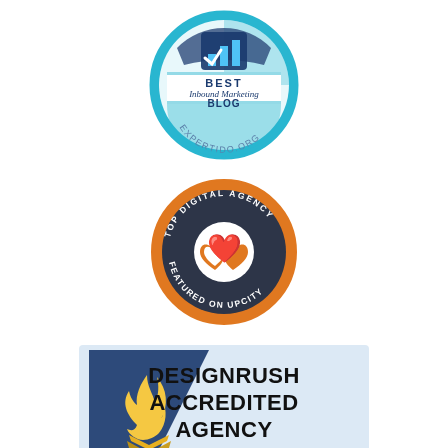[Figure (logo): Expertido.org badge: circular blue badge with bar chart icon and text 'BEST Inbound Marketing BLOG EXPERTIDO.ORG']
[Figure (logo): UpCity badge: dark navy circular badge with orange border and interlinked heart logo, text 'TOP DIGITAL AGENCY FEATURED ON UPCITY']
[Figure (logo): DesignRush Accredited Agency badge: light blue rectangle with dark blue triangle containing golden flame/torch emblem on left, bold text 'DESIGNRUSH ACCREDITED AGENCY' on right]